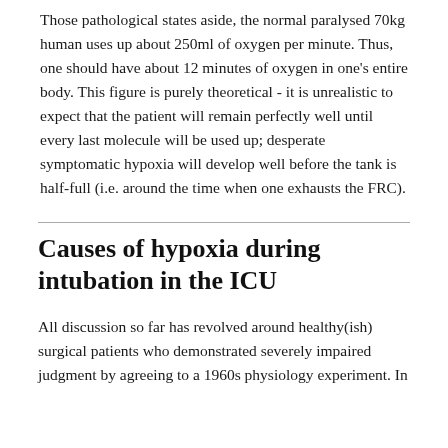Those pathological states aside, the normal paralysed 70kg human uses up about 250ml of oxygen per minute. Thus, one should have about 12 minutes of oxygen in one's entire body. This figure is purely theoretical - it is unrealistic to expect that the patient will remain perfectly well until every last molecule will be used up; desperate symptomatic hypoxia will develop well before the tank is half-full (i.e. around the time when one exhausts the FRC).
Causes of hypoxia during intubation in the ICU
All discussion so far has revolved around healthy(ish) surgical patients who demonstrated severely impaired judgment by agreeing to a 1960s physiology experiment. In